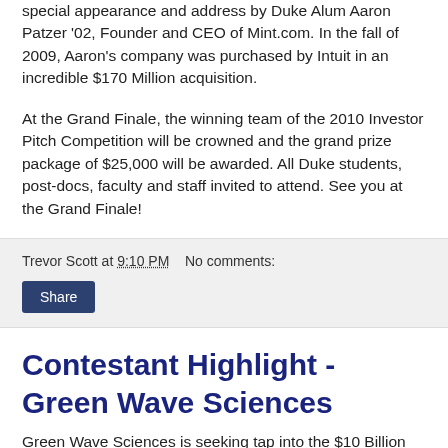special appearance and address by Duke Alum Aaron Patzer '02, Founder and CEO of Mint.com. In the fall of 2009, Aaron's company was purchased by Intuit in an incredible $170 Million acquisition.
At the Grand Finale, the winning team of the 2010 Investor Pitch Competition will be crowned and the grand prize package of $25,000 will be awarded. All Duke students, post-docs, faculty and staff invited to attend. See you at the Grand Finale!
Trevor Scott at 9:10 PM   No comments:
Share
Contestant Highlight - Green Wave Sciences
Green Wave Sciences is seeking tap into the $10 Billion market for agricultural soil purification. The company is